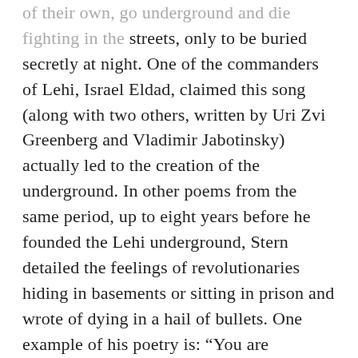of their own, go underground and die fighting in the streets, only to be buried secretly at night. One of the commanders of Lehi, Israel Eldad, claimed this song (along with two others, written by Uri Zvi Greenberg and Vladimir Jabotinsky) actually led to the creation of the underground. In other poems from the same period, up to eight years before he founded the Lehi underground, Stern detailed the feelings of revolutionaries hiding in basements or sitting in prison and wrote of dying in a hail of bullets. One example of his poetry is: “You are betrothed to me, my homeland \ According to all the laws of Moses and Israel... \ And with my death I will bury my head in your lap \ And you will live forever in my